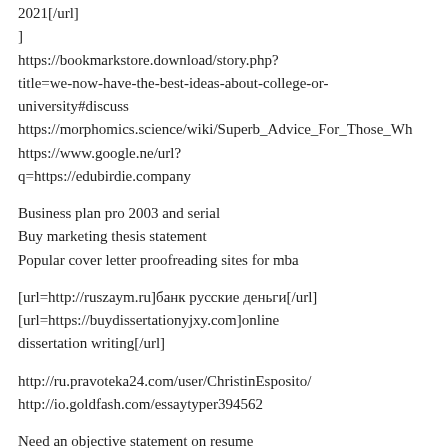2021[/url]
]
https://bookmarkstore.download/story.php?title=we-now-have-the-best-ideas-about-college-or-university#discuss
https://morphomics.science/wiki/Superb_Advice_For_Those_Wh
https://www.google.ne/url?
q=https://edubirdie.company
Business plan pro 2003 and serial
Buy marketing thesis statement
Popular cover letter proofreading sites for mba
[url=http://ruszaym.ru]банк русские деньги[/url]
[url=https://buydissertationyjxy.com]online dissertation writing[/url]
http://ru.pravoteka24.com/user/ChristinEsposito/
http://io.goldfash.com/essaytyper394562
Need an objective statement on resume
Boulder essay questions